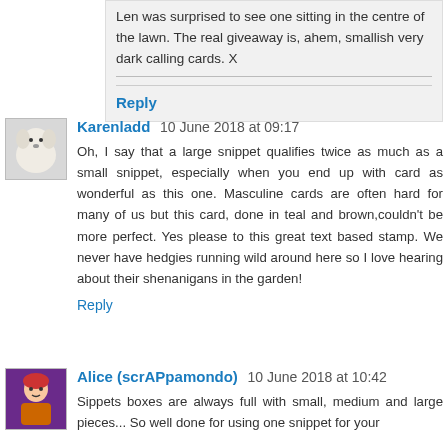Len was surprised to see one sitting in the centre of the lawn. The real giveaway is, ahem, smallish very dark calling cards. X
Reply
Karenladd 10 June 2018 at 09:17
Oh, I say that a large snippet qualifies twice as much as a small snippet, especially when you end up with card as wonderful as this one. Masculine cards are often hard for many of us but this card, done in teal and brown,couldn't be more perfect. Yes please to this great text based stamp. We never have hedgies running wild around here so I love hearing about their shenanigans in the garden!
Reply
Alice (scrAPpamondo) 10 June 2018 at 10:42
Sippets boxes are always full with small, medium and large pieces... So well done for using one snippet for your